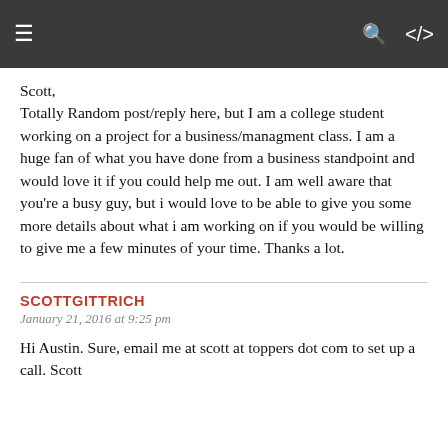≡  🔍  ⋮
Scott,
Totally Random post/reply here, but I am a college student working on a project for a business/managment class. I am a huge fan of what you have done from a business standpoint and would love it if you could help me out. I am well aware that you're a busy guy, but i would love to be able to give you some more details about what i am working on if you would be willing to give me a few minutes of your time. Thanks a lot.
SCOTTGITTRICH
January 21, 2016 at 9:25 pm
Hi Austin. Sure, email me at scott at toppers dot com to set up a call. Scott